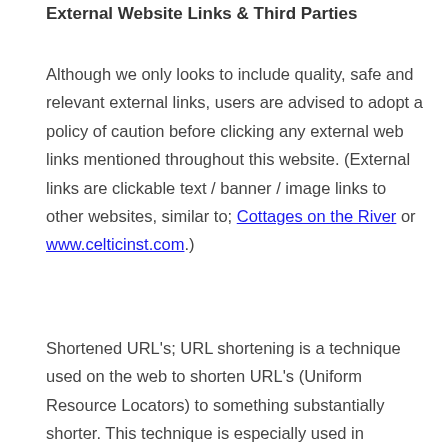External Website Links & Third Parties
Although we only looks to include quality, safe and relevant external links, users are advised to adopt a policy of caution before clicking any external web links mentioned throughout this website. (External links are clickable text / banner / image links to other websites, similar to; Cottages on the River or www.celticinst.com.)
Shortened URL's; URL shortening is a technique used on the web to shorten URL's (Uniform Resource Locators) to something substantially shorter. This technique is especially used in